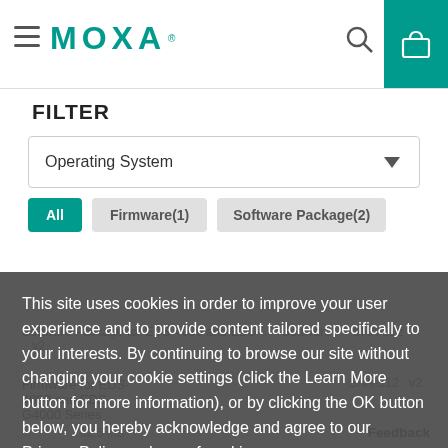MOXA
FILTER
Operating System
All
Firmware(1)
Software Package(2)
Software Package for EDS-4000 and EDS-...
Software  SHA-512  v2.
This site uses cookies in order to improve your user experience and to provide content tailored specifically to your interests. By continuing to browse our site without changing your cookie settings (click the Learn More button for more information), or by clicking the OK button below, you hereby acknowledge and agree to our Privacy Policy and use of cookies.
Firmware for EDS-4000 and EDS-G4000 Series
SHA-512  v2.
62.5 MB
Feedback